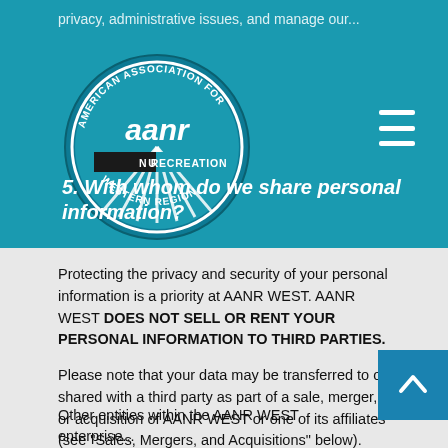privacy, administrative issues, and manage our...
[Figure (logo): AANR Western Region circular logo with 'aanr' text in center and 'NUDE RECREATION' on banner below, 'AMERICAN ASSOCIATION FOR' and 'WESTERN REGION' around the circle]
5. With whom do we share personal information?
Protecting the privacy and security of your personal information is a priority at AANR WEST. AANR WEST DOES NOT SELL OR RENT YOUR PERSONAL INFORMATION TO THIRD PARTIES.
Please note that your data may be transferred to or shared with a third party as part of a sale, merger, or acquisition of AANR WEST or one of its affiliates (see "Sales, Mergers, and Acquisitions" below).
AANR WEST shares your personal information w...
Other entities within the AANR WEST enterprise...